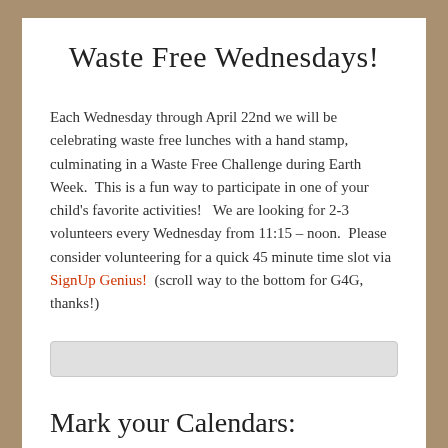Waste Free Wednesdays!
Each Wednesday through April 22nd we will be celebrating waste free lunches with a hand stamp, culminating in a Waste Free Challenge during Earth Week.  This is a fun way to participate in one of your child's favorite activities!   We are looking for 2-3 volunteers every Wednesday from 11:15 – noon.  Please consider volunteering for a quick 45 minute time slot via SignUp Genius!  (scroll way to the bottom for G4G, thanks!)
[Figure (other): Gray horizontal bar / button element]
Mark your Calendars: